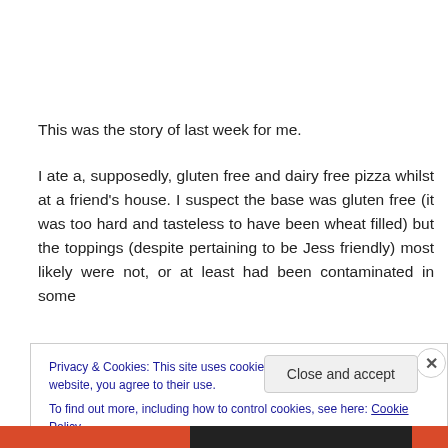This was the story of last week for me.
I ate a, supposedly, gluten free and dairy free pizza whilst at a friend's house. I suspect the base was gluten free (it was too hard and tasteless to have been wheat filled) but the toppings (despite pertaining to be Jess friendly) most likely were not, or at least had been contaminated in some
Privacy & Cookies: This site uses cookies. By continuing to use this website, you agree to their use.
To find out more, including how to control cookies, see here: Cookie Policy
Close and accept